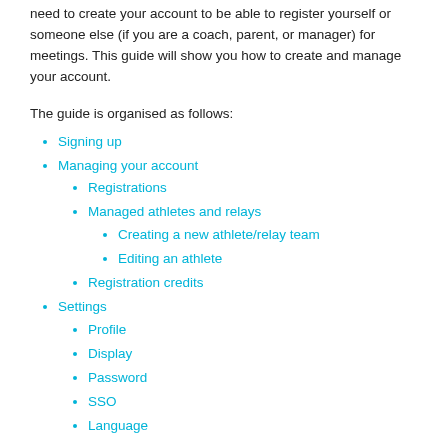need to create your account to be able to register yourself or someone else (if you are a coach, parent, or manager) for meetings. This guide will show you how to create and manage your account.
The guide is organised as follows:
Signing up
Managing your account
Registrations
Managed athletes and relays
Creating a new athlete/relay team
Editing an athlete
Registration credits
Settings
Profile
Display
Password
SSO
Language
Signing up for an account